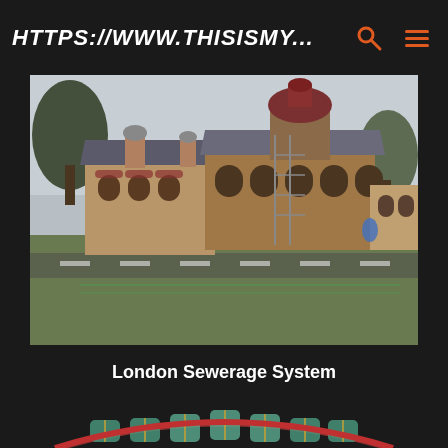HTTPS://WWW.THISISMY...
[Figure (photo): Exterior view of a Victorian-era ornate brick building, the London Sewerage System pumping station, with a distinctive red and grey domed tower, arched windows with decorative stonework, and a green lawn in the foreground]
London Sewerage System
[Figure (photo): Interior view looking up through an ornate arched ceiling with colorful decorative patterns in red, green, gold, and teal — appears to be inside the London Sewerage System building]